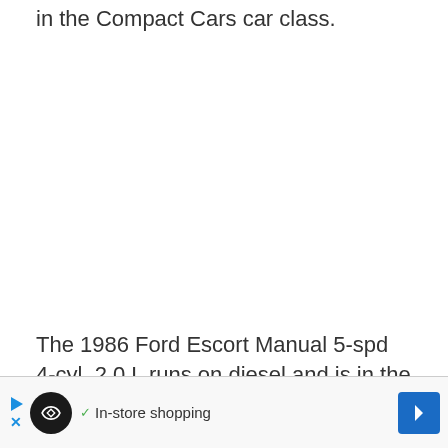in the Compact Cars car class.
The 1986 Ford Escort Manual 5-spd 4-cyl, 2.0 L runs on diesel and is in the Compact Cars car class.
[Figure (other): Advertisement banner with navigation/shopping app icons and 'In-store shopping' text]